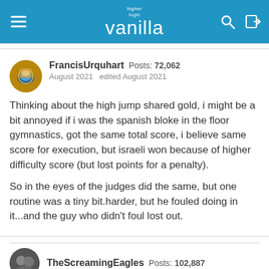higher logic vanilla
FrancisUrquhart  Posts: 72,062
August 2021   edited August 2021
Thinking about the high jump shared gold, i might be a bit annoyed if i was the spanish bloke in the floor gymnastics, got the same total score, i believe same score for execution, but israeli won because of higher difficulty score (but lost points for a penalty).
So in the eyes of the judges did the same, but one routine was a tiny bit.harder, but he fouled doing in it...and the guy who didn't foul lost out.
TheScreamingEagles  Posts: 102,887